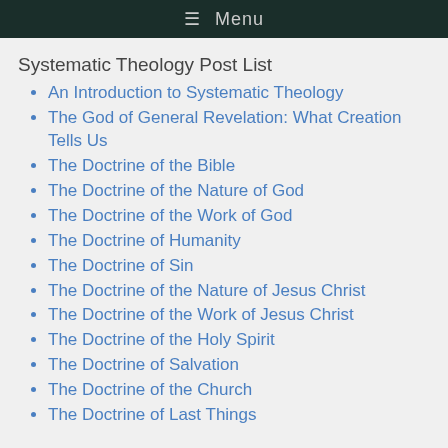≡ Menu
Systematic Theology Post List
An Introduction to Systematic Theology
The God of General Revelation: What Creation Tells Us
The Doctrine of the Bible
The Doctrine of the Nature of God
The Doctrine of the Work of God
The Doctrine of Humanity
The Doctrine of Sin
The Doctrine of the Nature of Jesus Christ
The Doctrine of the Work of Jesus Christ
The Doctrine of the Holy Spirit
The Doctrine of Salvation
The Doctrine of the Church
The Doctrine of Last Things